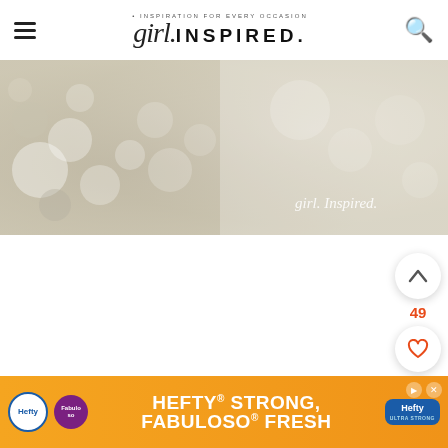girl. INSPIRED. · INSPIRATION FOR EVERY OCCASION
[Figure (photo): Blurred bokeh background photo with soft golden/silver tones and 'girl. Inspired.' watermark text in lower right corner]
[Figure (infographic): Social sharing sidebar with upvote button, count of 49, heart/save button, and orange search button]
[Figure (infographic): Advertisement banner for Hefty and Fabuloso: 'HEFTY STRONG, FABULOSO FRESH' on orange background with brand logos]